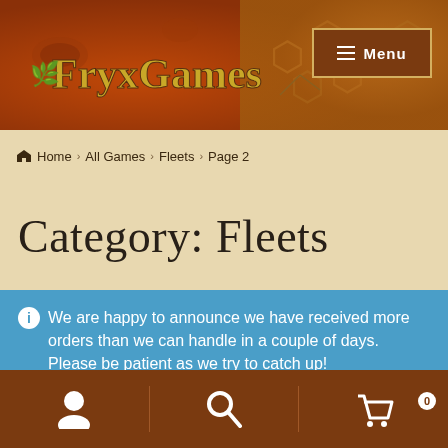[Figure (screenshot): FryxGames website header banner with orange/brown textured background showing Mars-like terrain and hexagonal honeycomb pattern]
☰ Menu
🏠 Home › All Games › Fleets › Page 2
Category: Fleets
ℹ We are happy to announce we have received more orders than we can handle in a couple of days. Please be patient as we try to catch up!
Dismiss